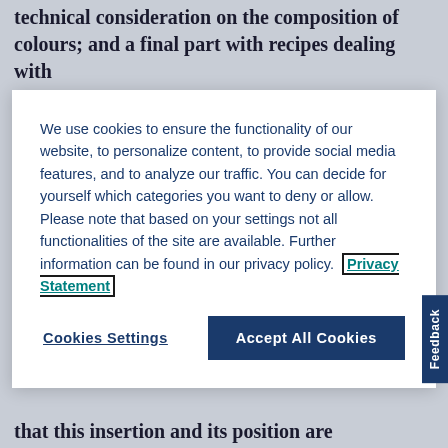technical consideration on the composition of colours; and a final part with recipes dealing with
We use cookies to ensure the functionality of our website, to personalize content, to provide social media features, and to analyze our traffic. You can decide for yourself which categories you want to deny or allow. Please note that based on your settings not all functionalities of the site are available. Further information can be found in our privacy policy. Privacy Statement
Cookies Settings
Accept All Cookies
that this insertion and its position are deliberate is supported by the fact that the recipe for the ‘wood ink’ is first partially copied before this additional cluster of recipes, and then copied in its entirety after it. The concise style of this particular cluster of recipes, suggests that it represents an addition in this specific copy rather than an omission from the others. The order of the recipes, however, does not